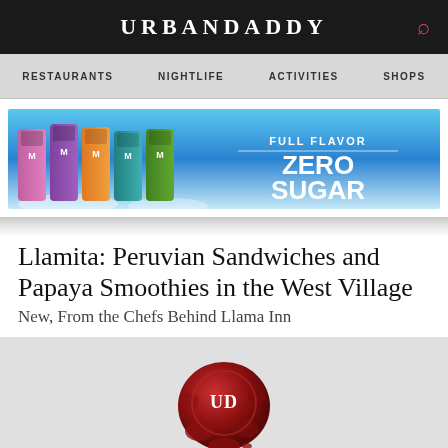URBANDADDY
RESTAURANTS  NIGHTLIFE  ACTIVITIES  SHOPS
[Figure (photo): Monster Energy drink advertisement banner showing multiple colorful energy drink cans on ice with text 'FULL FLAVOR ZERO SUGAR']
Llamita: Peruvian Sandwiches and Papaya Smoothies in the West Village
New, From the Chefs Behind Llama Inn
[Figure (logo): UrbanDaddy red wax seal logo with 'UD' monogram]
Contact
Info